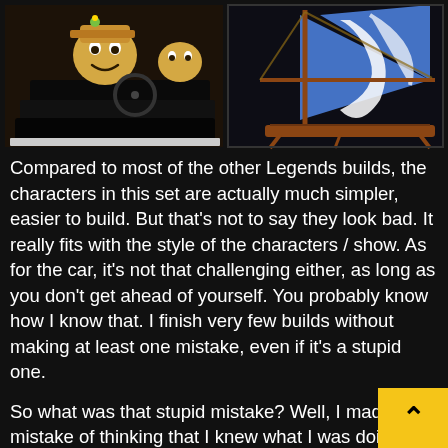[Figure (photo): Two side-by-side photos on dark background. Left photo shows cartoon-like toy/LEGO characters including a smiling figure in a vehicle. Right photo shows a toy sailboat with blue and white sail on a wooden frame.]
Compared to most of the other Legends builds, the characters in this set are actually much simpler, easier to build. But that's not to say they look bad. It really fits with the style of the characters / show. As for the car, it's not that challenging either, as long as you don't get ahead of yourself. You probably know how I know that. I finish very few builds without making at least one mistake, even if it's a stupid one.
So what was that stupid mistake? Well, I made the mistake of thinking that I knew what I was doing, things were obviously supposed to go together, "this" and I didn't need to check the directions. And I